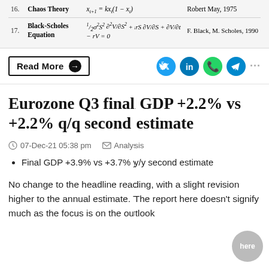| # | Name | Formula | Attribution |
| --- | --- | --- | --- |
| 16. | Chaos Theory | x_{t+1} = kx_t(1 - x_t) | Robert May, 1975 |
| 17. | Black-Scholes Equation | ½σ²S² ∂²V/∂S² + rS ∂V/∂S + ∂V/∂t − rV = 0 | F. Black, M. Scholes, 1990 |
Read More →
Eurozone Q3 final GDP +2.2% vs +2.2% q/q second estimate
07-Dec-21 05:38 pm   Analysis
Final GDP +3.9% vs +3.7% y/y second estimate
No change to the headline reading, with a slight revision higher to the annual estimate. The report here doesn't signify much as the focus is on the outlook